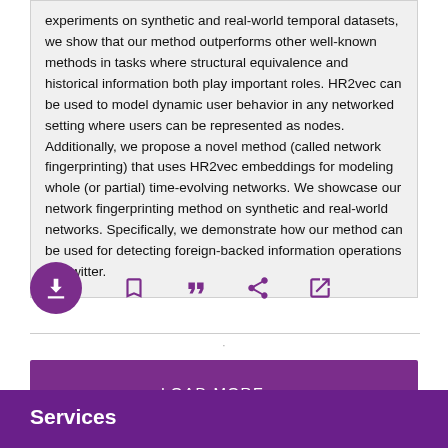experiments on synthetic and real-world temporal datasets, we show that our method outperforms other well-known methods in tasks where structural equivalence and historical information both play important roles. HR2vec can be used to model dynamic user behavior in any networked setting where users can be represented as nodes. Additionally, we propose a novel method (called network fingerprinting) that uses HR2vec embeddings for modeling whole (or partial) time-evolving networks. We showcase our network fingerprinting method on synthetic and real-world networks. Specifically, we demonstrate how our method can be used for detecting foreign-backed information operations on Twitter.
[Figure (other): Action bar with download button (purple circle with down-arrow icon), bookmark icon, quote icon, share icon, and external link icon — all in purple.]
LOAD MORE ...
Services